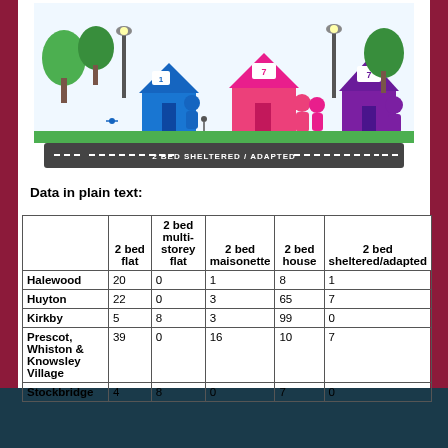[Figure (infographic): Colourful illustrated banner showing cartoon houses (blue 1-bed, pink 7-person, purple 7-person), trees, street lamps, people walking, cycling, with a dark road banner at bottom reading '2 BED SHELTERED / ADAPTED']
Data in plain text:
|  | 2 bed flat | 2 bed multi-storey flat | 2 bed maisonette | 2 bed house | 2 bed sheltered/adapted |
| --- | --- | --- | --- | --- | --- |
| Halewood | 20 | 0 | 1 | 8 | 1 |
| Huyton | 22 | 0 | 3 | 65 | 7 |
| Kirkby | 5 | 8 | 3 | 99 | 0 |
| Prescot, Whiston & Knowsley Village | 39 | 0 | 16 | 10 | 7 |
| Stockbridge | 4 | 8 | 0 | 7 | 0 |